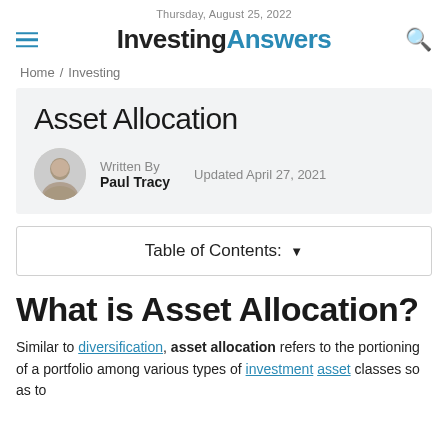Thursday, August 25, 2022
InvestingAnswers
Home / Investing
Asset Allocation
Written By Paul Tracy  Updated April 27, 2021
Table of Contents: ▼
What is Asset Allocation?
Similar to diversification, asset allocation refers to the portioning of a portfolio among various types of investment asset classes so as to